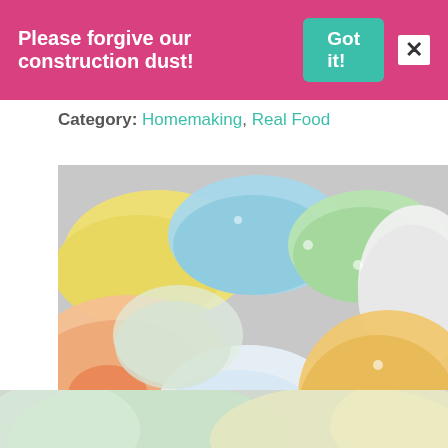Please forgive our construction dust! Got it! X
Category: Homemaking, Real Food
[Figure (photo): Colorful folded cloth diapers arranged in a circle on a gray surface, showing pastel colors: yellow, blue, green, white, orange, and peach.]
[Figure (photo): Continuation of cloth diapers photo — bottom portion visible, showing pastel green and yellow cloth items.]